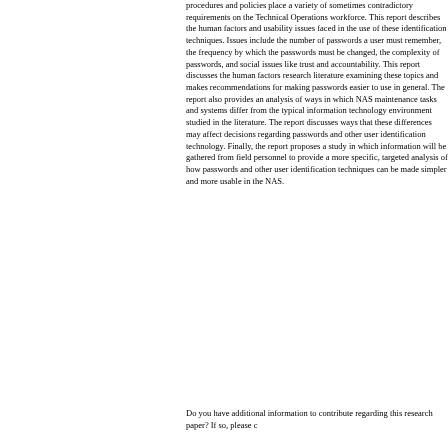procedures and policies place a variety of sometimes contradictory requirements on the Technical Operations workforce. This report describes the human factors and usability issues faced in the use of these identification techniques. Issues include the number of passwords a user must remember, the frequency by which the passwords must be changed, the complexity of passwords, and social issues like trust and accountability. This report discusses the human factors research literature examining these topics and makes recommendations for making passwords easier to use in general. The report also provides an analysis of ways in which NAS maintenance tasks and systems differ from the typical information technology environment studied in the literature. The report discusses ways that these differences may affect decisions regarding passwords and other user identification technology. Finally, the report proposes a study in which information will be gathered from field personnel to provide a more specific, targeted analysis of how passwords and other user identification techniques can be made simpler and more usable in the NAS.
Do you have additional information to contribute regarding this research paper? If so, please c...